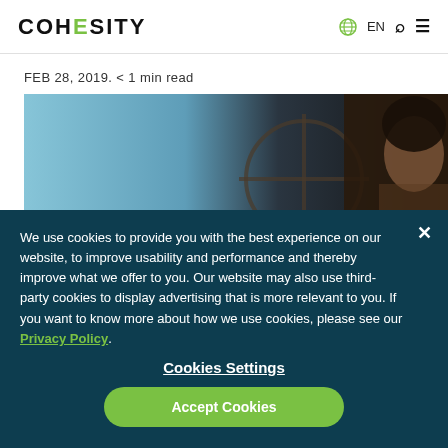COHESITY | EN
FEB 28, 2019. < 1 min read
[Figure (photo): A person in front of a dark background with a circular/cross element, blue tones on the left side.]
We use cookies to provide you with the best experience on our website, to improve usability and performance and thereby improve what we offer to you. Our website may also use third-party cookies to display advertising that is more relevant to you. If you want to know more about how we use cookies, please see our Privacy Policy.
Cookies Settings
Accept Cookies